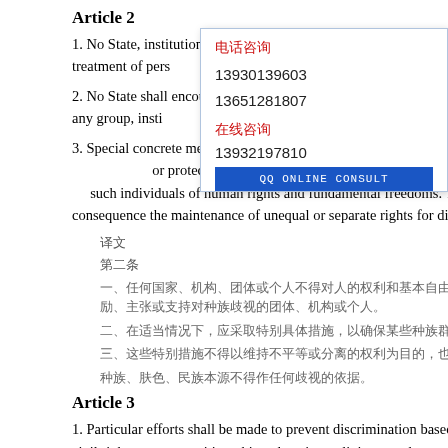Article 2
1. No State, institution, group or individual shall make any discrimination in human rights and fundamental freedoms in the treatment of persons based on race, colour or ethnic origin.
2. No State shall encourage, advocate or lend its support to racial discrimination based on race, colour or ethnic origin by any group, institution or individual.
3. Special concrete measures shall be taken in appropriate circumstances for the sole purpose of securing adequate advancement or protection of individuals belonging to certain racial groups with the object of ensuring the full enjoyment by such individuals of human rights and fundamental freedoms. These measures shall in no circumstances have as a consequence the maintenance of unequal or separate rights for different racial groups.
译文
第二条
一、任何国家、机构、团体或个人不得对人的权利和基本自由在种族、肤色或民族本源方面作任何歧视。
二、任何国家不得鼓励、主张或支持任何团体、机构或个人对种族、肤色或民族本源进行种族歧视。
三、在适当情况下，应采取特别具体措施，以确保某些种族群体的个人获得充分进步或保护，目的是确保这些个人充分享有人权和基本自由。这些措施在任何情况下都不得以维持不同种族群体的不平等或分离权利为后果。
种族、肤色、民族本源不得作任何歧视的依据。
Article 3
1. Particular efforts shall be made to prevent discrimination based on race, colour or ethnic origin, especially in the fields of civil rights, access to citizenship, education, religion, empl
电话咨询
13930139603
13651281807
在线咨询
13932197810
QQ ONLINE CONSULT